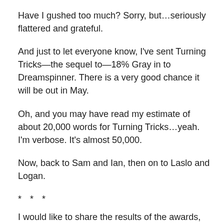Have I gushed too much? Sorry, but…seriously flattered and grateful.
And just to let everyone know, I've sent Turning Tricks—the sequel to—18% Gray in to Dreamspinner. There is a very good chance it will be out in May.
Oh, and you may have read my estimate of about 20,000 words for Turning Tricks…yeah. I'm verbose. It's almost 50,000.
Now, back to Sam and Ian, then on to Laslo and Logan.
* * *
I would like to share the results of the awards, but I'm going to have to do it later this week (tomorrow, hopefully). Some of my friends won some awards, too. I have to brag